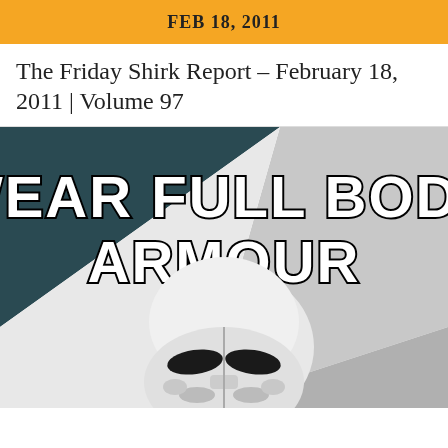FEB 18, 2011
The Friday Shirk Report – February 18, 2011 | Volume 97
[Figure (illustration): Meme-style image of a Star Wars Stormtrooper helmet against a background split into dark teal (upper left), light grey (upper right), and white (lower left) triangular sections. Bold white text with black outline reads 'WEAR FULL BODY ARMOUR' across the upper portion.]